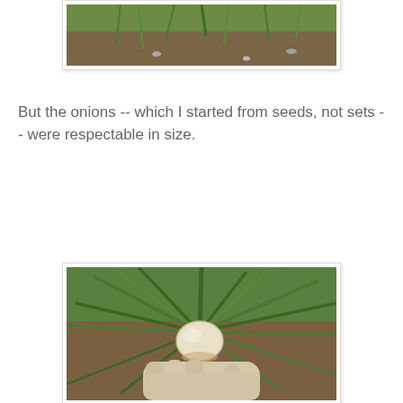[Figure (photo): Partial top view of a garden bed with soil and green plants, cropped at top of page]
But the onions -- which I started from seeds, not sets -- were respectable in size.
[Figure (photo): Close-up photo of large onion plants growing in a garden, with a gloved hand holding one of the onion bulbs to show its size. Green stalks spread outward; white bulb visible above soil.]